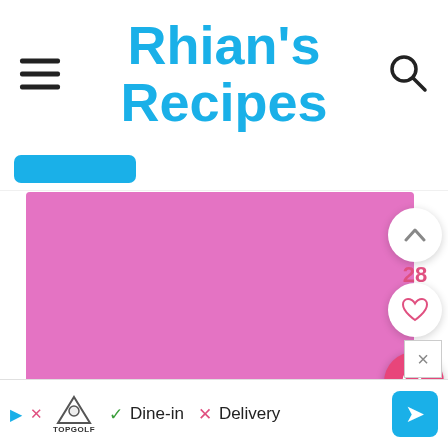Rhian's Recipes
[Figure (photo): A hand holding a pita bread stuffed with a chickpea and corn salad filling against a pink background]
28
Dine-in  ×  Delivery